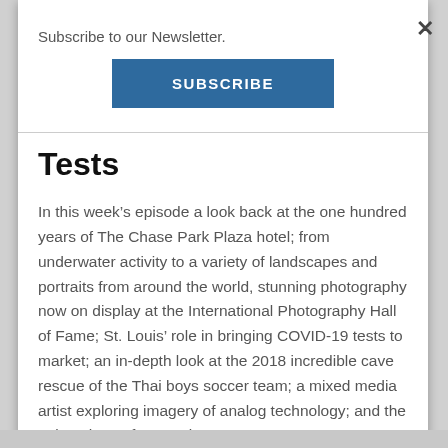Subscribe to our Newsletter.
[Figure (other): Blue SUBSCRIBE button]
Tests
In this week’s episode a look back at the one hundred years of The Chase Park Plaza hotel; from underwater activity to a variety of landscapes and portraits from around the world, stunning photography now on display at the International Photography Hall of Fame; St. Louis’ role in bringing COVID-19 tests to market; an in-depth look at the 2018 incredible cave rescue of the Thai boys soccer team; a mixed media artist exploring imagery of analog technology; and the unique hats of St. Louis’ Hat Man.